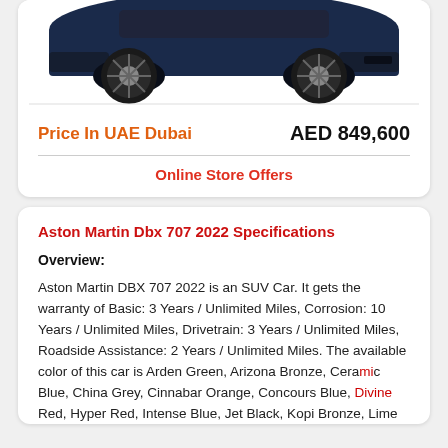[Figure (photo): Aston Martin DBX 707 car photo viewed from front-left angle, dark blue color against white background]
Price In UAE Dubai
AED 849,600
Online Store Offers
Aston Martin Dbx 707 2022 Specifications
Overview:
Aston Martin DBX 707 2022 is an SUV Car. It gets the warranty of Basic: 3 Years / Unlimited Miles, Corrosion: 10 Years / Unlimited Miles, Drivetrain: 3 Years / Unlimited Miles, Roadside Assistance: 2 Years / Unlimited Miles. The available color of this car is Arden Green, Arizona Bronze, Ceramic Blue, China Grey, Cinnabar Orange, Concours Blue, Divine Red, Hyper Red, Intense Blue, Jet Black, Kopi Bronze, Lime